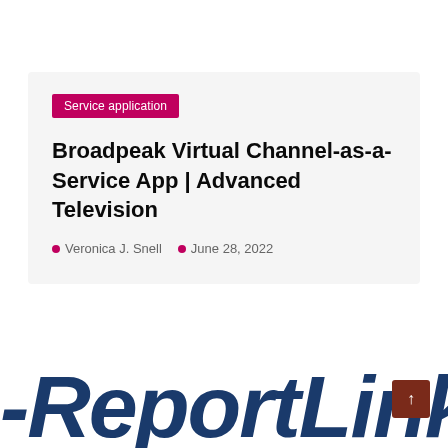Service application
Broadpeak Virtual Channel-as-a-Service App | Advanced Television
Veronica J. Snell   June 28, 2022
[Figure (logo): Partially visible large italic dark blue text reading '-Report Linker' cropped at bottom of page, serving as a watermark/branding element]